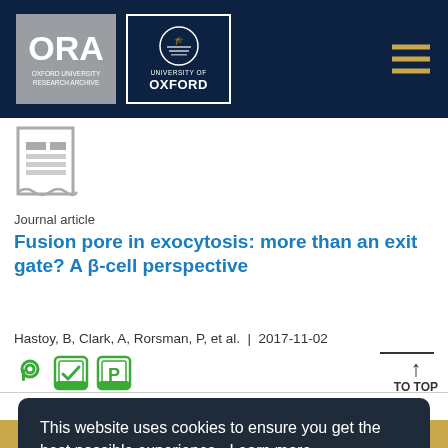[Figure (logo): Oxford University Research Archive (ORA) and University of Oxford logos on dark navy header]
[Figure (illustration): Journal article icon with document and lines]
Journal article
Fusion pore in exocytosis: more than an exit gate? A β-cell perspective
Hastoy, B, Clark, A, Rorsman, P, et al.  |  2017-11-02
[Figure (illustration): Open access, peer-reviewed, and print badges]
This website uses cookies to ensure you get the best possible experience.  Learn more
Got it!